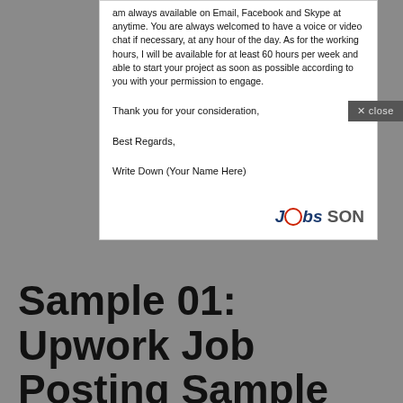am always available on Email, Facebook and Skype at anytime. You are always welcomed to have a voice or video chat if necessary, at any hour of the day. As for the working hours, I will be available for at least 60 hours per week and able to start your project as soon as possible according to you with your permission to engage.
Thank you for your consideration,
Best Regards,
Write Down (Your Name Here)
[Figure (logo): Jobs SON logo in blue italic bold font with circular emblem replacing the 'o']
Sample 01: Upwork Job Posting Sample for Article/Blog/Content Writing